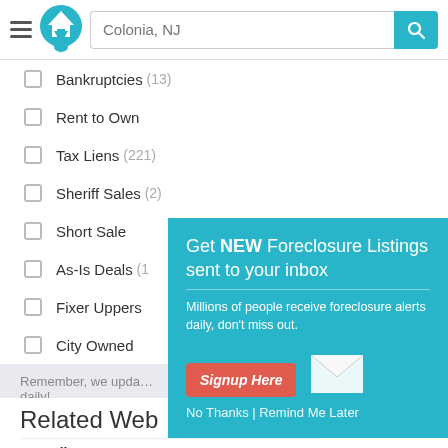Colonia, NJ — search header with logo and search bar
Bankruptcies (13)
Rent to Own
Tax Liens (221)
Sheriff Sales (2)
Short Sale
As-Is Deals (1)
Fixer Uppers
City Owned
Remember, we update listings daily!
Related Web
Repodirect.com — Online auction for boats, cars, jet skis etc.
[Figure (screenshot): Popup modal with teal background: 'Get NEW Foreclosure Listings sent to your inbox'. Includes description text, Signup Here button (red), envelope icon, and 'No Thanks | Remind Me Later' footer.]